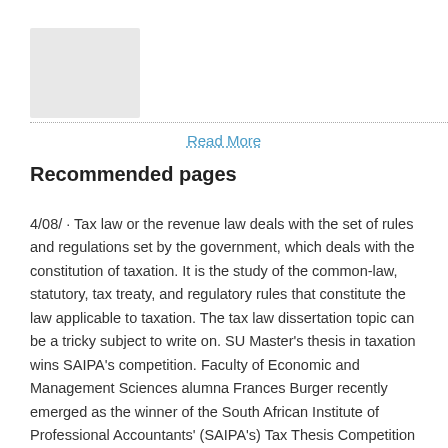[Figure (photo): Gray placeholder image thumbnail in upper left corner]
Read More
Recommended pages
4/08/ · Tax law or the revenue law deals with the set of rules and regulations set by the government, which deals with the constitution of taxation. It is the study of the common-law, statutory, tax treaty, and regulatory rules that constitute the law applicable to taxation. The tax law dissertation topic can be a tricky subject to write on. SU Master's thesis in taxation wins SAIPA's competition. Faculty of Economic and Management Sciences alumna Frances Burger recently emerged as the winner of the South African Institute of Professional Accountants' (SAIPA's) Tax Thesis Competition in the Master's degree category. Her thesis focused on the constitutionality of third party. Master Thesis Accounting, Auditing & Control Corporate tax avoidance and its determinants: An empirical study focusing on corporate social responsibility and institutional ownership Abstract: In this thesis I investigate the